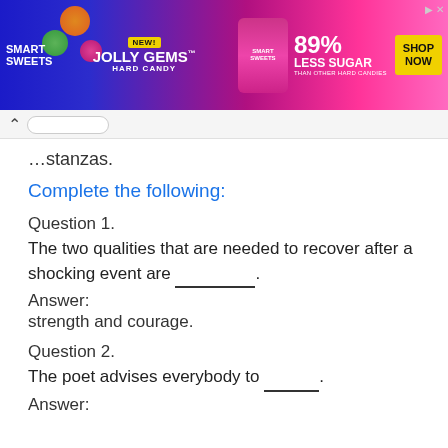[Figure (other): Smart Sweets Jolly Gems Hard Candy advertisement banner: 89% Less Sugar than other hard candies, with Shop Now button]
...stanzas.
Complete the following:
Question 1.
The two qualities that are needed to recover after a shocking event are __________.
Answer:
strength and courage.
Question 2.
The poet advises everybody to ______.
Answer: